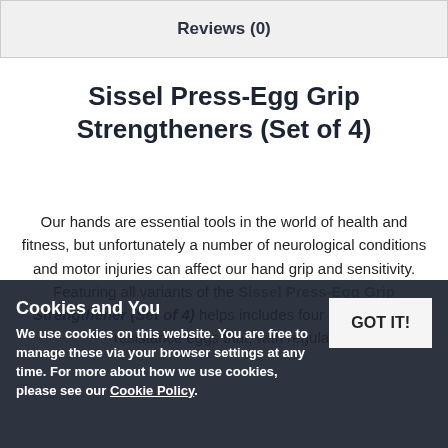Reviews (0)
Sissel Press-Egg Grip Strengtheners (Set of 4)
Our hands are essential tools in the world of health and fitness, but unfortunately a number of neurological conditions and motor injuries can affect our hand grip and sensitivity. Featuring all variants of the Sissel Press-Egg Grip Strengthener (Set of 4) helps includes four colour-coded resistance eggs that, with regular
Cookies and You
We use cookies on this website. You are free to manage these via your browser settings at any time. For more about how we use cookies, please see our Cookie Policy.
GOT IT!